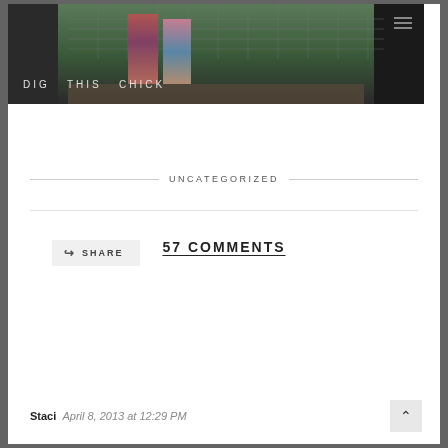[Figure (photo): Blog header photo showing two children standing on a deck/platform looking out through a wire fence at a forested hillside. The image has dark borders on the left and right sides. Blog title 'DIG THIS CHICK' is overlaid at the bottom left of the image. A hamburger menu icon appears at the top right.]
SHARE
UNCATEGORIZED
57 COMMENTS
Staci   April 8, 2013 at 12:29 PM